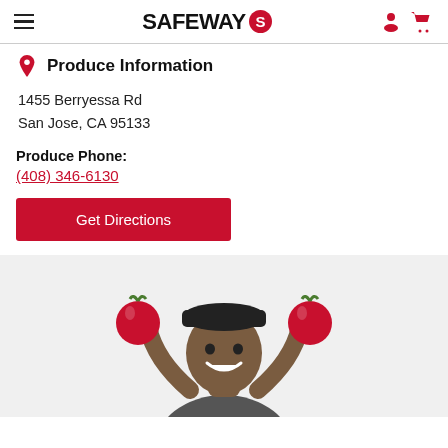SAFEWAY
Produce Information
1455 Berryessa Rd
San Jose, CA 95133
Produce Phone:
(408) 346-6130
Get Directions
[Figure (photo): A smiling man holding two red tomatoes up to the sides of his head like ears, wearing a dark gray shirt, photographed against a white background on a light gray section.]